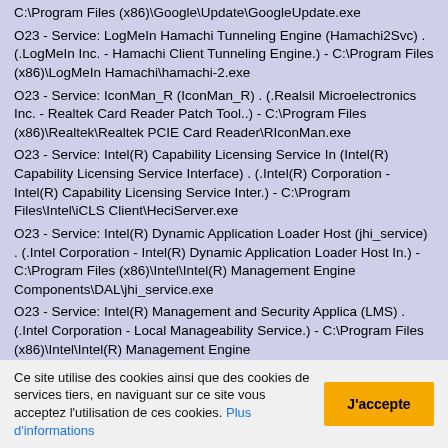C:\Program Files (x86)\Google\Update\GoogleUpdate.exe
O23 - Service: LogMeIn Hamachi Tunneling Engine (Hamachi2Svc) . (.LogMeIn Inc. - Hamachi Client Tunneling Engine.) - C:\Program Files (x86)\LogMeIn Hamachi\hamachi-2.exe
O23 - Service: IconMan_R (IconMan_R) . (.Realsil Microelectronics Inc. - Realtek Card Reader Patch Tool..) - C:\Program Files (x86)\Realtek\Realtek PCIE Card Reader\RIconMan.exe
O23 - Service: Intel(R) Capability Licensing Service In (Intel(R) Capability Licensing Service Interface) . (.Intel(R) Corporation - Intel(R) Capability Licensing Service Inter.) - C:\Program Files\Intel\iCLS Client\HeciServer.exe
O23 - Service: Intel(R) Dynamic Application Loader Host (jhi_service) . (.Intel Corporation - Intel(R) Dynamic Application Loader Host In.) - C:\Program Files (x86)\Intel\Intel(R) Management Engine Components\DAL\jhi_service.exe
O23 - Service: Intel(R) Management and Security Applica (LMS) . (.Intel Corporation - Local Manageability Service.) - C:\Program Files (x86)\Intel\Intel(R) Management Engine
Ce site utilise des cookies ainsi que des cookies de services tiers, en naviguant sur ce site vous acceptez l'utilisation de ces cookies. Plus d'informations
J'accepte